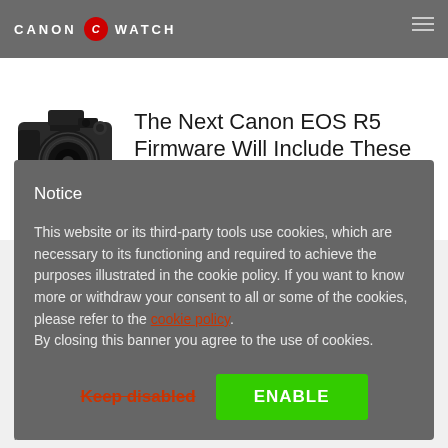CANON [logo] WATCH
The Next Canon EOS R5 Firmware Will Include These New Features
[Figure (photo): Canon EOS R5 mirrorless camera with lens attached, black body]
Notice
This website or its third-party tools use cookies, which are necessary to its functioning and required to achieve the purposes illustrated in the cookie policy. If you want to know more or withdraw your consent to all or some of the cookies, please refer to the cookie policy. By closing this banner you agree to the use of cookies.
Keep disabled
ENABLE
powered by Enthusiasm. Canon Watch is not affiliated with